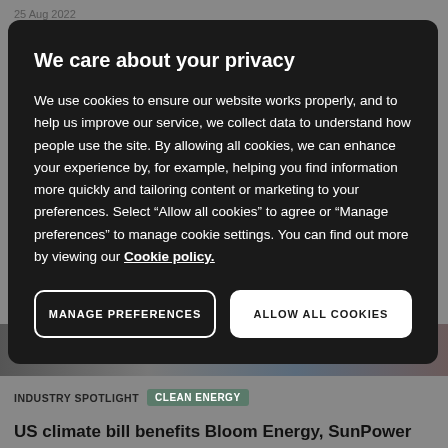25 Aug 2022
We care about your privacy
We use cookies to ensure our website works properly, and to help us improve our service, we collect data to understand how people use the site. By allowing all cookies, we can enhance your experience by, for example, helping you find information more quickly and tailoring content or marketing to your preferences. Select “Allow all cookies” to agree or “Manage preferences” to manage cookie settings. You can find out more by viewing our Cookie policy.
MANAGE PREFERENCES
ALLOW ALL COOKIES
[Figure (photo): Photo strip of people at work, partially obscured by modal overlay]
INDUSTRY SPOTLIGHT   CLEAN ENERGY
US climate bill benefits Bloom Energy, SunPower